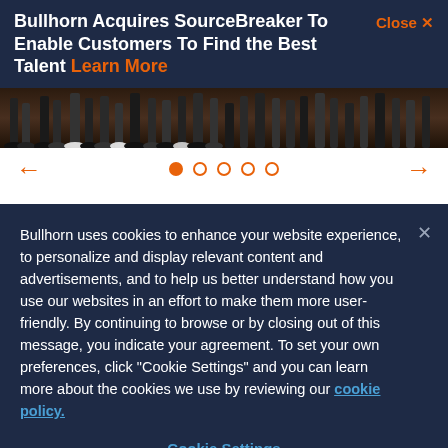Bullhorn Acquires SourceBreaker To Enable Customers To Find the Best Talent Learn More
[Figure (photo): Partial view of a crowd of people standing, showing legs and feet at an event or conference]
[Figure (infographic): Carousel navigation controls with left and right orange arrows and five dots (first filled, others outlined)]
Bullhorn uses cookies to enhance your website experience, to personalize and display relevant content and advertisements, and to help us better understand how you use our websites in an effort to make them more user-friendly. By continuing to browse or by closing out of this message, you indicate your agreement. To set your own preferences, click "Cookie Settings" and you can learn more about the cookies we use by reviewing our cookie policy.
Cookie Settings